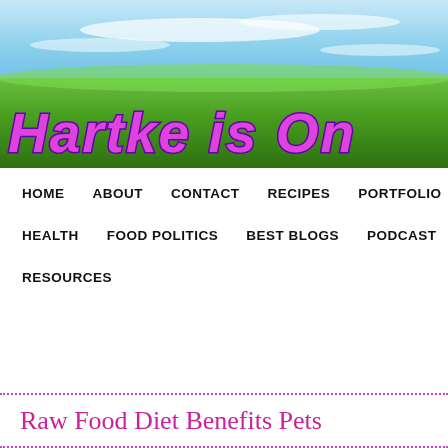[Figure (illustration): Website banner header showing green grass field with blue sky and clouds background. Large purple/magenta italic bold text reads 'Hartke is On' with dark purple outline/shadow effect.]
HOME   ABOUT   CONTACT   RECIPES   PORTFOLIO   HEALTH   FOOD POLITICS   BEST BLOGS   PODCAST   RESOURCES
Raw Food Diet Benefits Pets